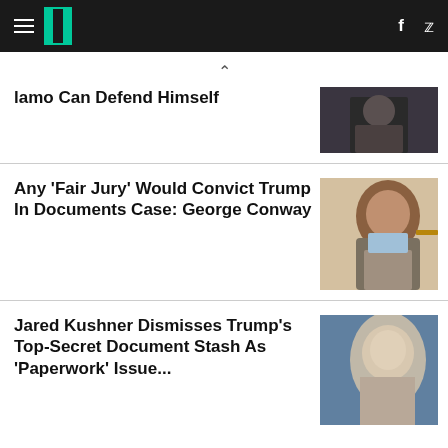HuffPost navigation bar with logo, hamburger menu, Facebook and Twitter icons
^ (chevron up)
...lamo Can Defend Himself
[Figure (photo): Person in military/tactical gear]
Any 'Fair Jury' Would Convict Trump In Documents Case: George Conway
[Figure (photo): George Conway, a heavyset man with brown hair in a suit and open-collar shirt]
Jared Kushner Dismisses Trump's Top-Secret Document Stash As 'Paperwork' Issue...
[Figure (photo): Jared Kushner close-up face shot]